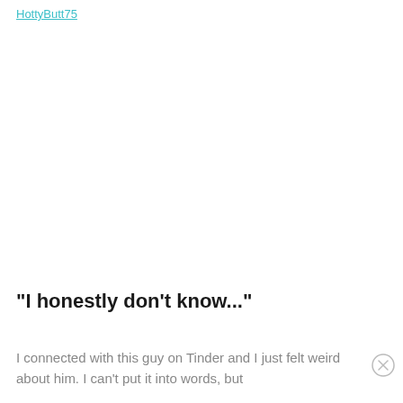HottyButt75
"I honestly don't know..."
I connected with this guy on Tinder and I just felt weird about him. I can't put it into words, but